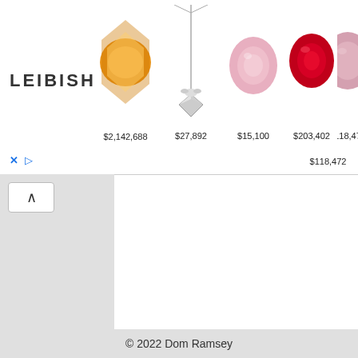[Figure (screenshot): Leibish jewelry advertisement banner showing logo 'LEIBISH' and 5 gem/jewelry items with prices: $2,142,688, $27,892, $15,100, $203,402, $118,472]
I'll have return t phone a faulty o which I don't w to. HEL please My wife iPHON and as
© 2022 Dom Ramsey